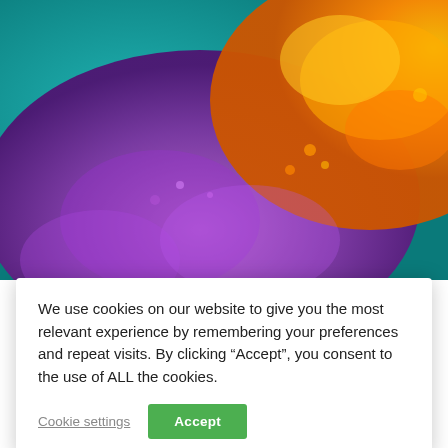[Figure (photo): Colorful spice powder photo — teal/blue, purple, and orange/yellow powders scattered on surface, vivid macro shot. Serves as hero banner image at the top of the page.]
We use cookies on our website to give you the most relevant experience by remembering your preferences and repeat visits. By clicking “Accept”, you consent to the use of ALL the cookies.
Cookie settings
Accept
owner and a restauranteur, then the life of a gastropub owner may appeal to you. The term gastrop entered the culinary vocabulary in the 1990
[Figure (photo): Bar interior photo — bottles of wine/spirits on shelf, hanging wine glasses, bar stools visible, chalkboard menu in background.]